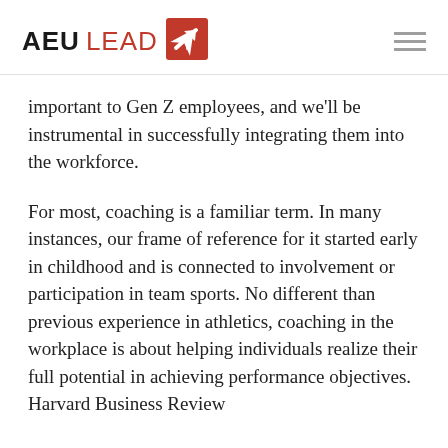AEU LEAD
important to Gen Z employees, and we'll be instrumental in successfully integrating them into the workforce.
For most, coaching is a familiar term. In many instances, our frame of reference for it started early in childhood and is connected to involvement or participation in team sports. No different than previous experience in athletics, coaching in the workplace is about helping individuals realize their full potential in achieving performance objectives. Harvard Business Review